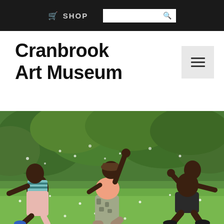SHOP [search box]
Cranbrook Art Museum
[Figure (photo): Three young Black women dancing dynamically on a green grass lawn with lush green bushes in the background. They are captured in mid-movement with arms raised and bodies in motion. One wears a striped crop top with pink pants, the middle figure wears a peach/salmon top with gray camo leggings, and the third wears dark shorts.]